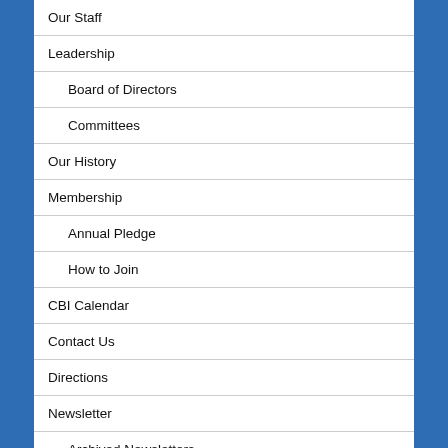Our Staff
Leadership
Board of Directors
Committees
Our History
Membership
Annual Pledge
How to Join
CBI Calendar
Contact Us
Directions
Newsletter
Archived Newsletters